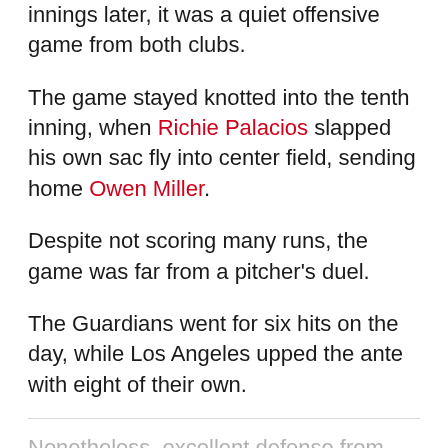innings later, it was a quiet offensive game from both clubs.
The game stayed knotted into the tenth inning, when Richie Palacios slapped his own sac fly into center field, sending home Owen Miller.
Despite not scoring many runs, the game was far from a pitcher's duel.
The Guardians went for six hits on the day, while Los Angeles upped the ante with eight of their own.
Nonetheless, excellent defense from both